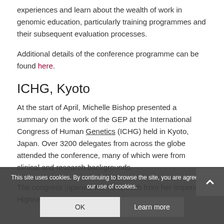experiences and learn about the wealth of work in genomic education, particularly training programmes and their subsequent evaluation processes.
Additional details of the conference programme can be found here.
ICHG, Kyoto
At the start of April, Michelle Bishop presented a summary on the work of the GEP at the International Congress of Human Genetics (ICHG) held in Kyoto, Japan. Over 3200 delegates from across the globe attended the conference, many of which were from clinical and research backgrounds.
The congress [opened with] a speech from her Imperial Highness Princess Takamado, discussing
This site uses cookies. By continuing to browse the site, you are agreeing to our use of cookies.